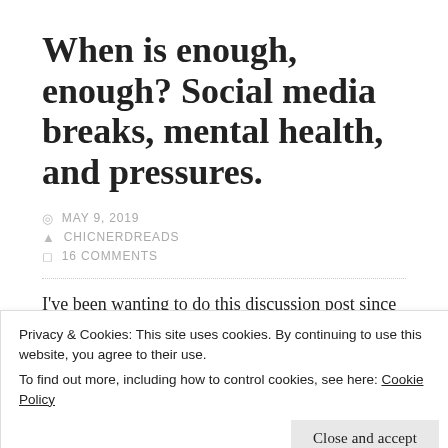When is enough, enough? Social media breaks, mental health, and pressures.
MAY 9, 2019
CHICNERDREADS
16 COMMENTS
I've been wanting to do this discussion post since late March when I took a week off social media. I know a
Privacy & Cookies: This site uses cookies. By continuing to use this website, you agree to their use.
To find out more, including how to control cookies, see here: Cookie Policy
The past few months I find myself wanting to